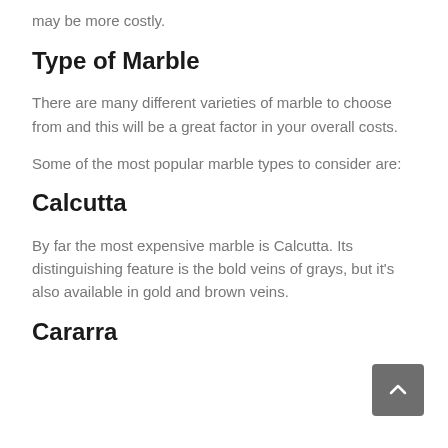may be more costly.
Type of Marble
There are many different varieties of marble to choose from and this will be a great factor in your overall costs.
Some of the most popular marble types to consider are:
Calcutta
By far the most expensive marble is Calcutta. Its distinguishing feature is the bold veins of grays, but it's also available in gold and brown veins.
Cararra